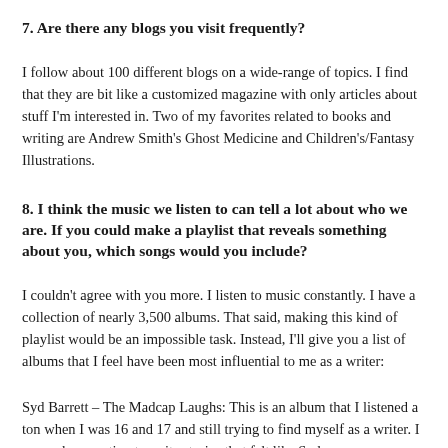7. Are there any blogs you visit frequently?
I follow about 100 different blogs on a wide-range of topics. I find that they are bit like a customized magazine with only articles about stuff I'm interested in. Two of my favorites related to books and writing are Andrew Smith's Ghost Medicine and Children's/Fantasy Illustrations.
8. I think the music we listen to can tell a lot about who we are. If you could make a playlist that reveals something about you, which songs would you include?
I couldn't agree with you more. I listen to music constantly. I have a collection of nearly 3,500 albums. That said, making this kind of playlist would be an impossible task. Instead, I'll give you a list of albums that I feel have been most influential to me as a writer:
Syd Barrett – The Madcap Laughs: This is an album that I listened a ton when I was 16 and 17 and still trying to find myself as a writer. I remember wanting to write stories that felt like Syd...